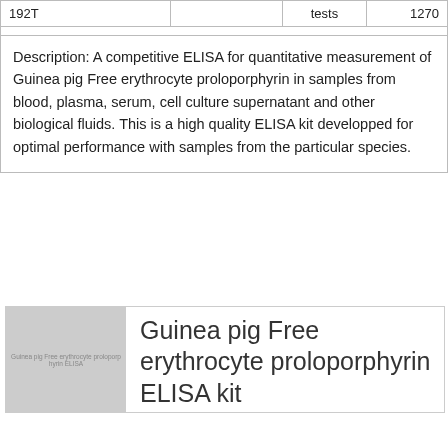| 192T |  | tests | 1270 |
Description: A competitive ELISA for quantitative measurement of Guinea pig Free erythrocyte proloporphyrin in samples from blood, plasma, serum, cell culture supernatant and other biological fluids. This is a high quality ELISA kit developped for optimal performance with samples from the particular species.
[Figure (photo): Product image placeholder showing Guinea pig Free erythrocyte proloporphyrin ELISA kit]
Guinea pig Free erythrocyte proloporphyrin ELISA kit